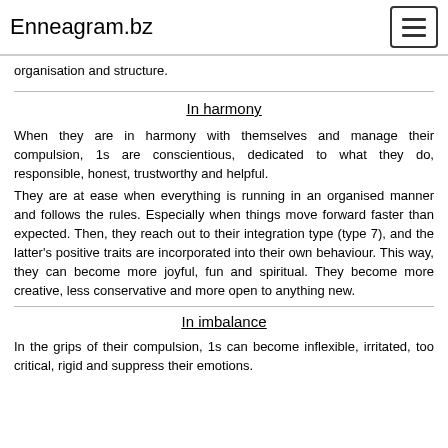Enneagram.bz
organisation and structure.
In harmony
When they are in harmony with themselves and manage their compulsion, 1s are conscientious, dedicated to what they do, responsible, honest, trustworthy and helpful.
They are at ease when everything is running in an organised manner and follows the rules. Especially when things move forward faster than expected. Then, they reach out to their integration type (type 7), and the latter's positive traits are incorporated into their own behaviour. This way, they can become more joyful, fun and spiritual. They become more creative, less conservative and more open to anything new.
In imbalance
In the grips of their compulsion, 1s can become inflexible, irritated, too critical, rigid and suppress their emotions.